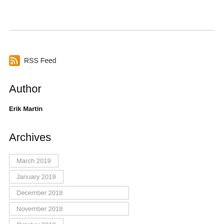[Figure (logo): RSS Feed icon with text 'RSS Feed']
Author
Erik Martin
Archives
March 2019
January 2019
December 2018
November 2018
October 2018